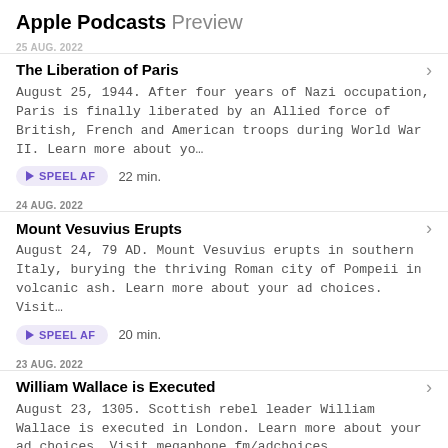Apple Podcasts Preview
25 AUG. 2022
The Liberation of Paris
August 25, 1944. After four years of Nazi occupation, Paris is finally liberated by an Allied force of British, French and American troops during World War II. Learn more about yo…
SPEEL AF   22 min.
24 AUG. 2022
Mount Vesuvius Erupts
August 24, 79 AD. Mount Vesuvius erupts in southern Italy, burying the thriving Roman city of Pompeii in volcanic ash. Learn more about your ad choices. Visit…
SPEEL AF   20 min.
23 AUG. 2022
William Wallace is Executed
August 23, 1305. Scottish rebel leader William Wallace is executed in London. Learn more about your ad choices. Visit megaphone.fm/adchoices
SPEEL AF   23 min.